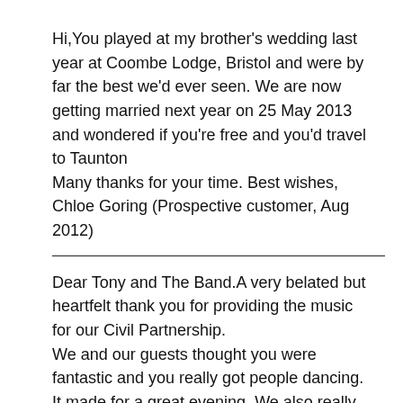Hi,You played at my brother's wedding last year at Coombe Lodge, Bristol and were by far the best we'd ever seen. We are now getting married next year on 25 May 2013 and wondered if you're free and you'd travel to Taunton
Many thanks for your time. Best wishes, Chloe Goring (Prospective customer, Aug 2012)
Dear Tony and The Band.A very belated but heartfelt thank you for providing the music for our Civil Partnership.
We and our guests thought you were fantastic and you really got people dancing. It made for a great evening. We also really appreciated you going the extra mile by learning a new song for our First Dance – but glad we have introduced you to Pink Martini.
We wouldn't hesitate to recommend you to others